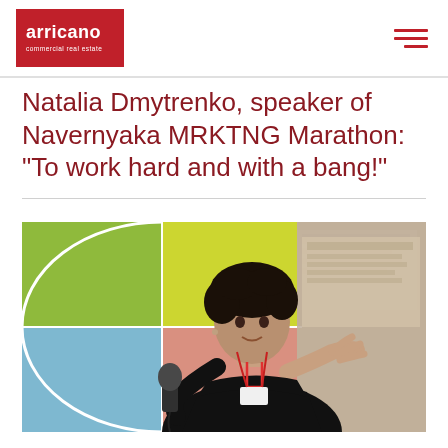[Figure (logo): Arricano commercial real estate logo — red box with white folded top-right corner, white text 'arricano' in bold and 'commercial real estate' in small text below]
Natalia Dmytrenko, speaker of Navernyaka MRKTNG Marathon: “To work hard and with a bang!”
[Figure (photo): A woman with short dark curly hair wearing a black top holds a microphone, gesturing with her right hand. Behind her is a large colorful presentation screen with green, yellow, salmon/peach, and blue quadrant panels and a projected image on the right side.]